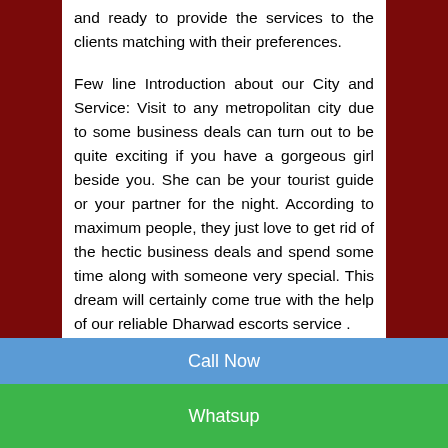and ready to provide the services to the clients matching with their preferences.
Few line Introduction about our City and Service: Visit to any metropolitan city due to some business deals can turn out to be quite exciting if you have a gorgeous girl beside you. She can be your tourist guide or your partner for the night. According to maximum people, they just love to get rid of the hectic business deals and spend some time along with someone very special. This dream will certainly come true with the help of our reliable Dharwad escorts service .
VIP ESCORTS SURAT READY TO SATISFY YOU AND YOUR DESIRE DREAM
Call Now
Whatsup